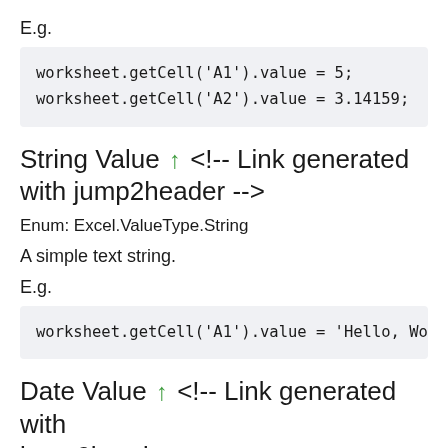E.g.
worksheet.getCell('A1').value = 5;
worksheet.getCell('A2').value = 3.14159;
String Value ↑ <!-- Link generated with jump2header -->
Enum: Excel.ValueType.String
A simple text string.
E.g.
worksheet.getCell('A1').value = 'Hello, Wor
Date Value ↑ <!-- Link generated with jump2header -->